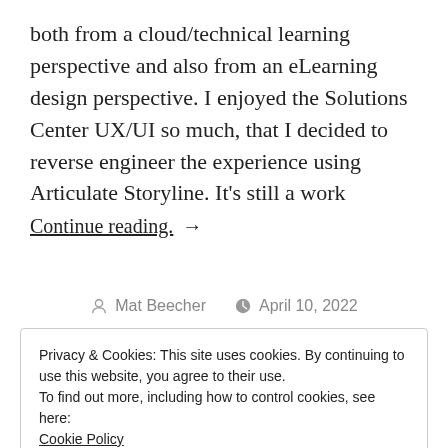both from a cloud/technical learning perspective and also from an eLearning design perspective. I enjoyed the Solutions Center UX/UI so much, that I decided to reverse engineer the experience using Articulate Storyline. It's still a work
Continue reading. →
Mat Beecher   April 10, 2022
Privacy & Cookies: This site uses cookies. By continuing to use this website, you agree to their use.
To find out more, including how to control cookies, see here: Cookie Policy
[Close and accept button]
Need Psychological Safety